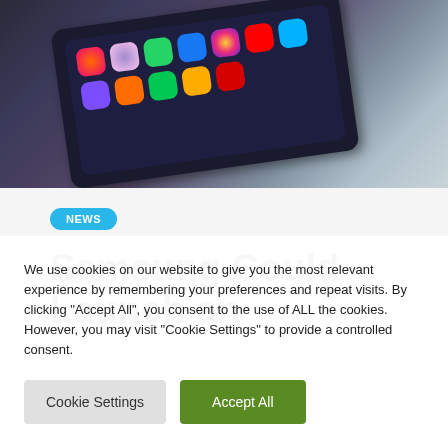[Figure (photo): Photo of a Samsung foldable smartphone displayed on a surface, showing the home screen with app icons, with a stylus/pen visible nearby.]
NEWS
Samsung Could Launch an
We use cookies on our website to give you the most relevant experience by remembering your preferences and repeat visits. By clicking “Accept All”, you consent to the use of ALL the cookies. However, you may visit "Cookie Settings" to provide a controlled consent.
Cookie Settings   Accept All